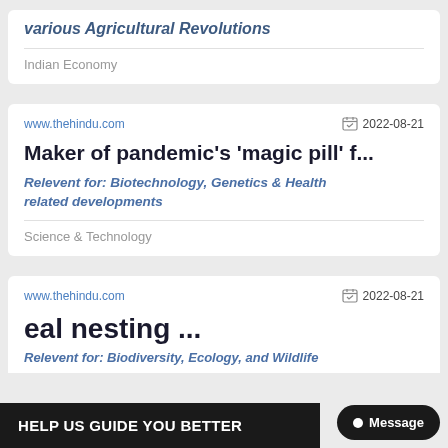various Agricultural Revolutions
Indian Economy
www.thehindu.com
2022-08-21
Maker of pandemic’s ‘magic pill’ f...
Relevent for: Biotechnology, Genetics & Health related developments
Science & Technology
www.thehindu.com
2022-08-21
eal nesting ...
Relevent for: Biodiversity, Ecology, and Wildlife
HELP US GUIDE YOU BETTER
Message